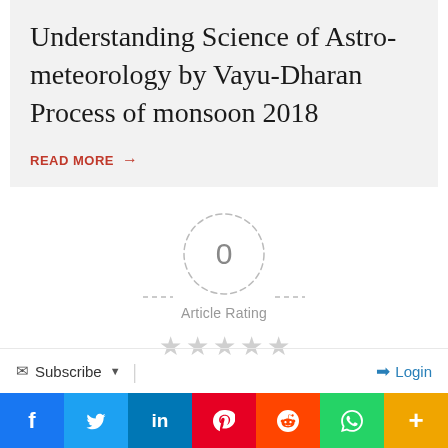Understanding Science of Astro-meteorology by Vayu-Dharan Process of monsoon 2018
READ MORE →
[Figure (infographic): Article rating widget showing a dashed circle with '0' in the center, labeled 'Article Rating', with 5 empty gray stars below]
Subscribe ▾
Login
[Figure (infographic): Social media sharing bar with buttons for Facebook, Twitter, LinkedIn, Pinterest, Reddit, WhatsApp, and More]